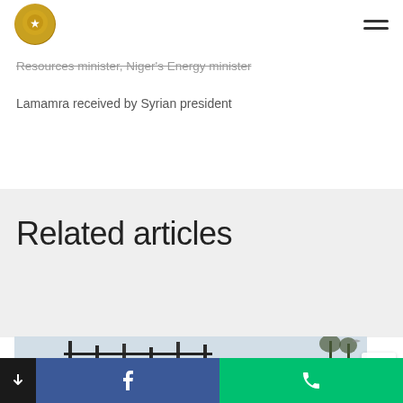Logo and navigation
Resources minister, Niger's Energy minister
Lamamra received by Syrian president
Related articles
[Figure (photo): Partially visible outdoor photo showing construction scaffolding or gate structure, with UN text visible, overcast sky and trees in background]